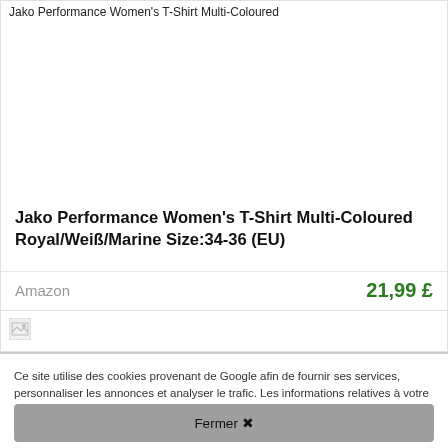Jako Performance Women's T-Shirt Multi-Coloured
Jako Performance Women's T-Shirt Multi-Coloured Royal/Weiß/Marine Size:34-36 (EU)
Amazon
21,99 £
[Figure (photo): Broken image placeholder icon]
Ce site utilise des cookies provenant de Google afin de fournir ses services, personnaliser les annonces et analyser le trafic. Les informations relatives à votre utilisation du site sont partagées avec Google. En acceptant ce site, vous acceptez l'utilisation des cookies. En savoir plus
Fermer ✖